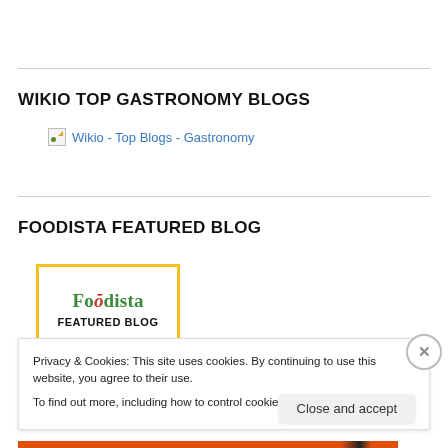WIKIO TOP GASTRONOMY BLOGS
[Figure (other): Wikio - Top Blogs - Gastronomy badge image link (broken image icon shown with alt text)]
FOODISTA FEATURED BLOG
[Figure (logo): Foodista Featured Blog badge with yellow border, green Foodista text, red 'oo', and bold FEATURED BLOG label]
Privacy & Cookies: This site uses cookies. By continuing to use this website, you agree to their use.
To find out more, including how to control cookies, see here: Cookie Policy